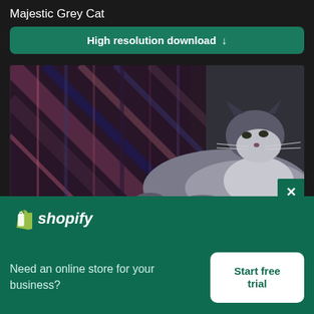Majestic Grey Cat
High resolution download ↓
[Figure (photo): A grey and white cat with dark markings lying down against a plaid/tartan patterned background, looking to the side with a calm expression]
[Figure (logo): Shopify logo with shopping bag icon and italic 'shopify' text in white]
Need an online store for your business?
Start free trial